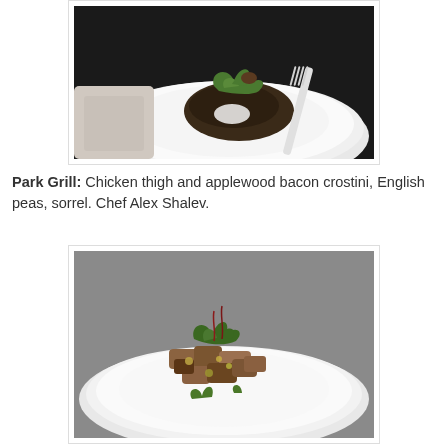[Figure (photo): A white paper plate held by a hand, with a serving of food topped with fresh green basil/sorrel leaves and dark lentils or meat, with a plastic fork on a dark background.]
Park Grill:  Chicken thigh and applewood bacon crostini, English peas, sorrel.  Chef Alex Shalev.
[Figure (photo): A white paper plate with chunks of cooked chicken thigh and applewood bacon crostini garnished with fresh green herb leaves (sorrel/purslane) on a gray surface.]